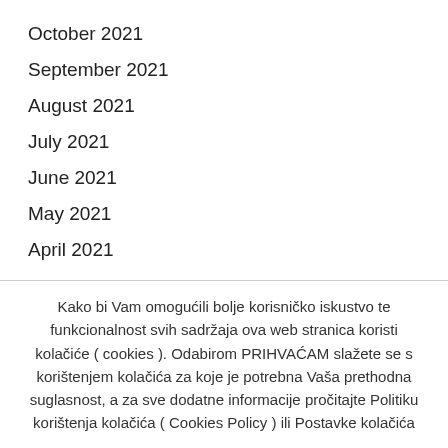October 2021
September 2021
August 2021
July 2021
June 2021
May 2021
April 2021
Kako bi Vam omogućili bolje korisničko iskustvo te funkcionalnost svih sadržaja ova web stranica koristi kolačiće ( cookies ). Odabirom PRIHVAĆAM slažete se s korištenjem kolačića za koje je potrebna Vaša prethodna suglasnost, a za sve dodatne informacije pročitajte Politiku korištenja kolačića ( Cookies Policy ) ili Postavke kolačića
Cookie settings
Prihvaćam